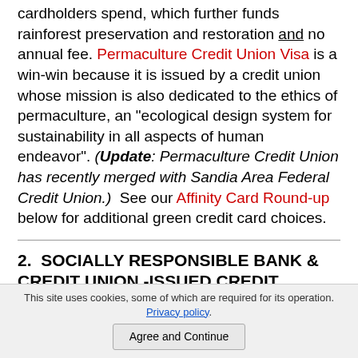cardholders spend, which further funds rainforest preservation and restoration and no annual fee. Permaculture Credit Union Visa is a win-win because it is issued by a credit union whose mission is also dedicated to the ethics of permaculture, an "ecological design system for sustainability in all aspects of human endeavor". (Update: Permaculture Credit Union has recently merged with Sandia Area Federal Credit Union.)  See our Affinity Card Round-up below for additional green credit card choices.
2.  SOCIALLY RESPONSIBLE BANK & CREDIT UNION -ISSUED CREDIT CARDS
Choosing a credit card owned and issued by a
This site uses cookies, some of which are required for its operation. Privacy policy.